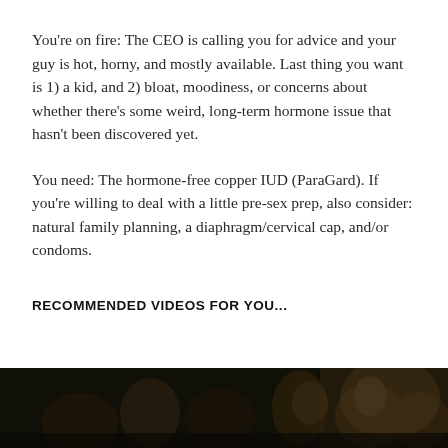You're on fire: The CEO is calling you for advice and your guy is hot, horny, and mostly available. Last thing you want is 1) a kid, and 2) bloat, moodiness, or concerns about whether there's some weird, long-term hormone issue that hasn't been discovered yet.
You need: The hormone-free copper IUD (ParaGard). If you're willing to deal with a little pre-sex prep, also consider: natural family planning, a diaphragm/cervical cap, and/or condoms.
RECOMMENDED VIDEOS FOR YOU...
[Figure (photo): Dark video thumbnail showing group of people in dimly lit scene]